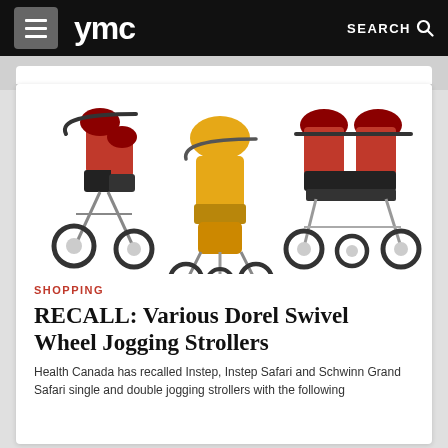ymc  SEARCH
[Figure (photo): Three jogging strollers: a red double stroller on the left, a yellow single stroller in the center, and a red double stroller on the right]
SHOPPING
RECALL: Various Dorel Swivel Wheel Jogging Strollers
Health Canada has recalled Instep, Instep Safari and Schwinn Grand Safari single and double jogging strollers with the following